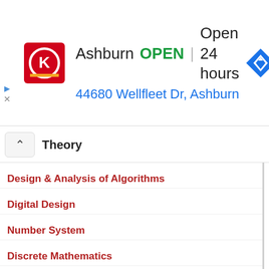[Figure (infographic): Advertisement banner: Circle K logo, 'Ashburn OPEN | Open 24 hours', address '44680 Wellfleet Dr, Ashburn', navigation icon on right]
Theory
Design & Analysis of Algorithms
Digital Design
Number System
Discrete Mathematics
B.Tech Subjects
Computer Graphics
Machine Learning
Artificial Intelligence
Pattern Recognition